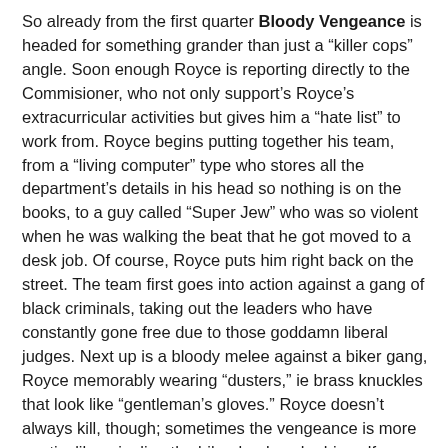So already from the first quarter Bloody Vengeance is headed for something grander than just a “killer cops” angle. Soon enough Royce is reporting directly to the Commisioner, who not only support’s Royce’s extracurricular activities but gives him a “hate list” to work from. Royce begins putting together his team, from a “living computer” type who stores all the department’s details in his head so nothing is on the books, to a guy called “Super Jew” who was so violent when he was walking the beat that he got moved to a desk job. Of course, Royce puts him right back on the street. The team first goes into action against a gang of black criminals, taking out the leaders who have constantly gone free due to those goddamn liberal judges. Next up is a bloody melee against a biker gang, Royce memorably wearing “dusters,” ie brass knuckles that look like “gentleman’s gloves.” Royce doesn’t always kill, though; sometimes the vengeance is more poetic, like crippling the biker leader who himself crippled an innocent victim.
Gradually though the story develops more into a political angle. Operating under the guise of the “International Police Benevolent Association,” Royce and his colleagues throw